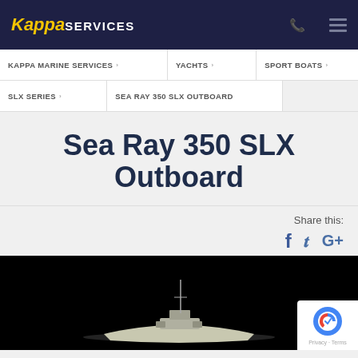Kappa Services
KAPPA MARINE SERVICES  >  YACHTS  >  SPORT BOATS  >
SLX SERIES  >  SEA RAY 350 SLX OUTBOARD
Sea Ray 350 SLX Outboard
Share this: f t G+
[Figure (photo): Dark/black background photo of a Sea Ray 350 SLX Outboard boat, showing the boat on water from a side/overhead angle against a black background. A reCAPTCHA Privacy - Terms badge is visible in the bottom right corner.]